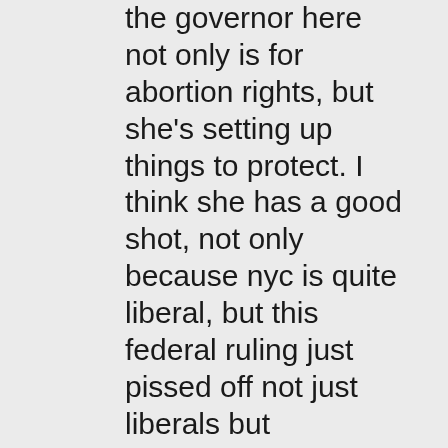the governor here not only is for abortion rights, but she's setting up things to protect. I think she has a good shot, not only because nyc is quite liberal, but this federal ruling just pissed off not just liberals but independents, republicans etc. I wasn't saying they shouldn't but I saw women comment and others how this is exactly what conservatives want. I don't know what's going to happen with couples if women cut off sex with their bfs even tho usually liberal women I think date liberal men so these men are supportive. Meanwhile this move doesn't even effect